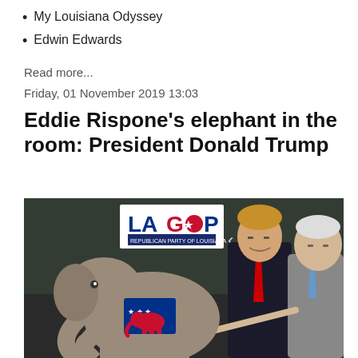My Louisiana Odyssey
Edwin Edwards
Read more...
Friday, 01 November 2019 13:03
Eddie Rispone's elephant in the room: President Donald Trump
[Figure (photo): Photo showing a Republican elephant with GOP logo on its side, with two men in suits in the background near a LAGOP sign — one appearing to be Donald Trump in a dark suit with red tie, and another older man in a grey suit with blue tie pointing at the elephant.]